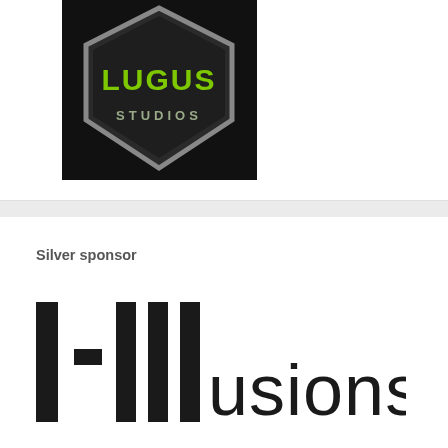[Figure (logo): Lugus Studios logo — hexagonal dark badge with green text 'LUGUS STUDIOS']
Silver sponsor
[Figure (logo): I-Illusions company logo with large vertical bars forming the letters and 'USIONS' in light sans-serif text]